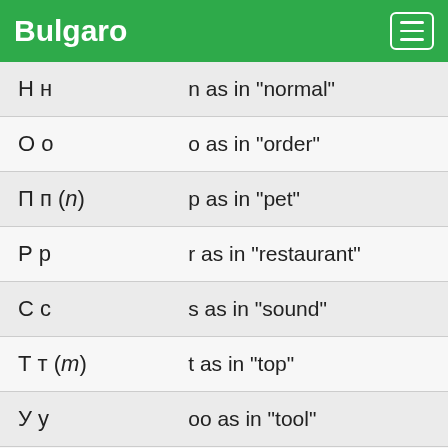Bulgaro
| Letter | Pronunciation |
| --- | --- |
| Н н | n as in "normal" |
| О о | o as in "order" |
| П п (n) | p as in "pet" |
| Р р | r as in "restaurant" |
| С с | s as in "sound" |
| Т т (m) | t as in "top" |
| У у | oo as in "tool" |
| Ф ф | f as in "food" |
| Х х | ch as in Scottish "loch" |
| Ц ц (u) | ts as in "fits" |